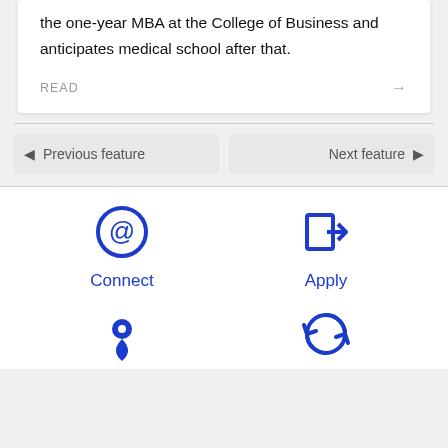the one-year MBA at the College of Business and anticipates medical school after that.
READ →
◄ Previous feature
Next feature ►
[Figure (infographic): Blue @ symbol icon for Connect]
Connect
[Figure (infographic): Blue login/apply arrow icon for Apply]
Apply
[Figure (infographic): Blue map pin / location icon]
[Figure (infographic): Blue circular refresh/sync arrows icon]